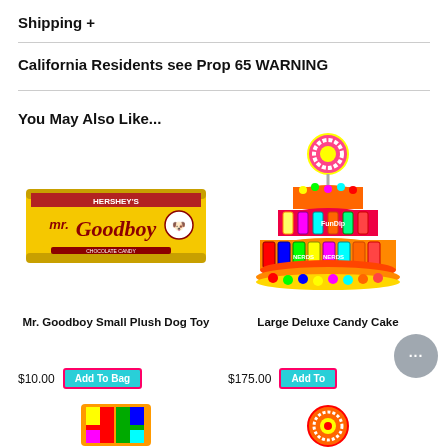Shipping +
California Residents see Prop 65 WARNING
You May Also Like...
[Figure (photo): Mr. Goodboy Small Plush Dog Toy - yellow candy bar shaped plush toy with Mr. Goodboy branding]
Mr. Goodboy Small Plush Dog Toy
$10.00
[Figure (photo): Large Deluxe Candy Cake - tiered cake made of various colorful candies with a lollipop on top]
Large Deluxe Candy Cake
$175.00
[Figure (photo): Partial view of a third product image at bottom left]
[Figure (photo): Partial view of a fourth product image at bottom right - rainbow lollipop]